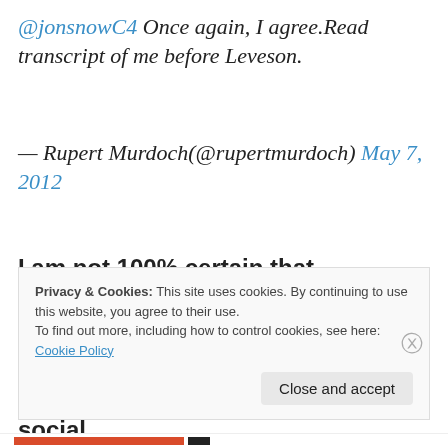@jonsnowC4 Once again, I agree.Read transcript of me before Leveson.
— Rupert Murdoch(@rupertmurdoch) May 7, 2012
I am not 100% certain that Murdoch's Twitter account is not a sophisticated piece of propaganda; making him look like any other cuddly old man trying to cope with social
Privacy & Cookies: This site uses cookies. By continuing to use this website, you agree to their use.
To find out more, including how to control cookies, see here: Cookie Policy
Close and accept